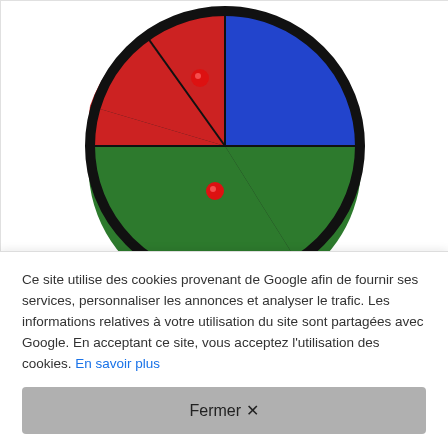[Figure (photo): A colorful pop-up target disk divided into pie sections of red, green, and blue, with red ball projectiles visible on the target surface. The disk has a black rim with small feet/kickstands at the bottom.]
HAEST Pop Up Target Disk - Pie - 145 cm
Amazon  39,99 £
Ce site utilise des cookies provenant de Google afin de fournir ses services, personnaliser les annonces et analyser le trafic. Les informations relatives à votre utilisation du site sont partagées avec Google. En acceptant ce site, vous acceptez l'utilisation des cookies. En savoir plus
Fermer ✕